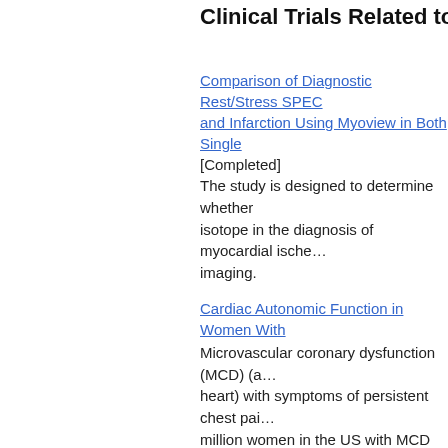Clinical Trials Related to Myovie…
Comparison of Diagnostic Rest/Stress SPEC… and Infarction Using Myoview in Both Single…
[Completed]
The study is designed to determine whether… isotope in the diagnosis of myocardial ische… imaging.
Cardiac Autonomic Function in Women With…
Microvascular coronary dysfunction (MCD) (a… heart) with symptoms of persistent chest pai… million women in the US with MCD and abou… nervous system (ANS) is part of the central n… in their environment. It controls what are nor… respiration (breathing), body temperature, bl… there is a limited understanding of the role ot… investigate cardiovascular reactivity to menta… in women with MCD using mental stress test… cardiac imaging and cardiac autonomic funct… the next five years.
A Study of Regadenoson in Subjects Underg… Using Multidetector Computed Tomography o… Computed Tomography (SPECT) [Completed…